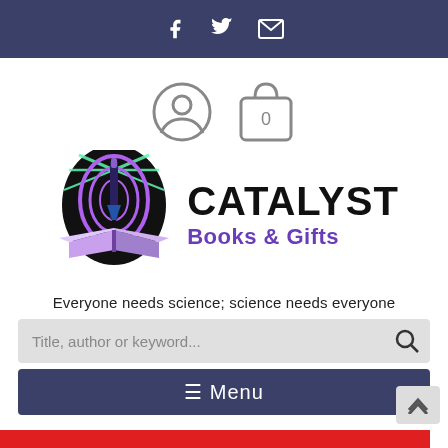Social icons: Facebook, Twitter, Email
[Figure (logo): User account icon and shopping bag icon with '0' badge]
[Figure (logo): Catalyst Books & Gifts logo — pen nib over open book with black arch and colorful rays, beside bold text 'CATALYST Books & Gifts']
Everyone needs science; science needs everyone
Title, author or keyword...
☰ Menu